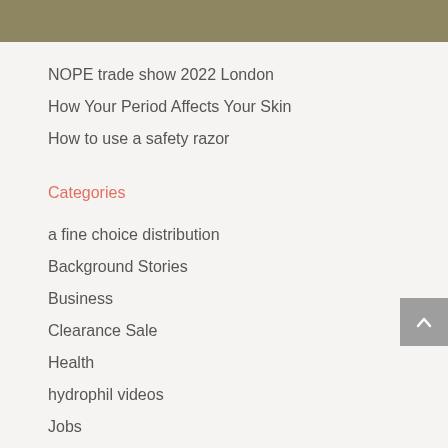NOPE trade show 2022 London
How Your Period Affects Your Skin
How to use a safety razor
Categories
a fine choice distribution
Background Stories
Business
Clearance Sale
Health
hydrophil videos
Jobs